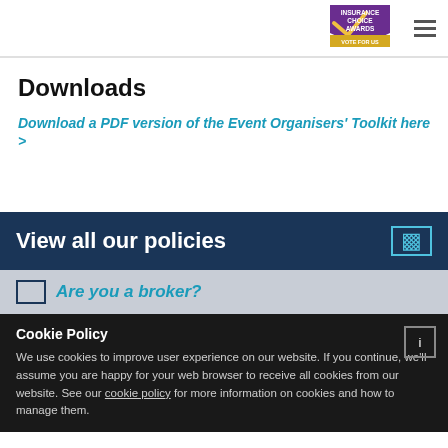[Figure (logo): Insurance Choice Awards - Vote For Us logo, purple shield shape with gold chevron]
Downloads
Download a PDF version of the Event Organisers' Toolkit here >
View all our policies
Are you a broker?
Cookie Policy
We use cookies to improve user experience on our website. If you continue, we'll assume you are happy for your web browser to receive all cookies from our website. See our cookie policy for more information on cookies and how to manage them.